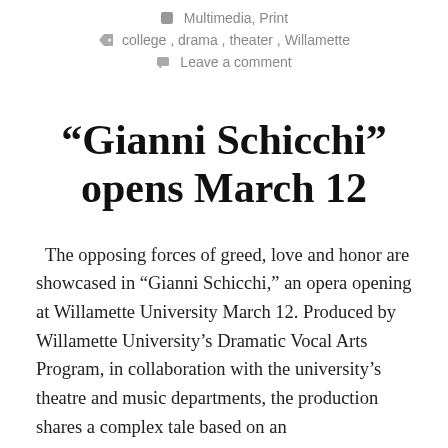Multimedia, Print
college, drama, theater, Willamette
Leave a comment
“Gianni Schicchi” opens March 12
The opposing forces of greed, love and honor are showcased in “Gianni Schicchi,” an opera opening at Willamette University March 12. Produced by Willamette University’s Dramatic Vocal Arts Program, in collaboration with the university’s theatre and music departments, the production shares a complex tale based on an